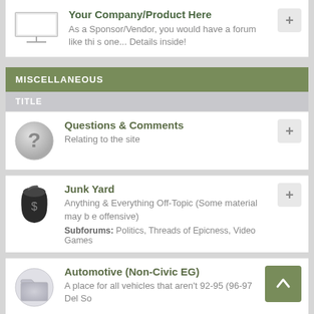Your Company/Product Here
As a Sponsor/Vendor, you would have a forum like this one... Details inside!
MISCELLANEOUS
TITLE
Questions & Comments
Relating to the site
Junk Yard
Anything & Everything Off-Topic (Some material may be offensive)
Subforums: Politics, Threads of Epicness, Video Games
Automotive (Non-Civic EG)
A place for all vehicles that aren't 92-95 (96-97 Del So